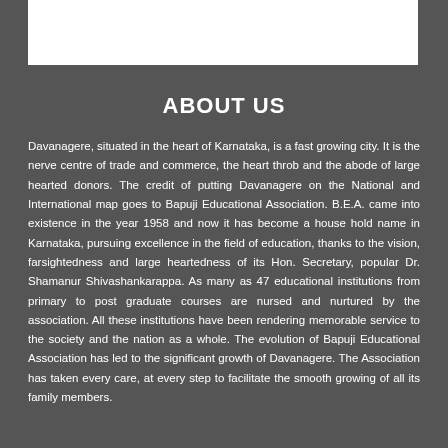ABOUT US
Davanagere, situated in the heart of Karnataka, is a fast growing city. It is the nerve centre of trade and commerce, the heart throb and the abode of large hearted donors. The credit of putting Davanagere on the National and International map goes to Bapuji Educational Association. B.E.A. came into existence in the year 1958 and now it has become a house hold name in Karnataka, pursuing excellence in the field of education, thanks to the vision, farsightedness and large heartedness of its Hon. Secretary, popular Dr. Shamanur Shivashankarappa. As many as 47 educational institutions from primary to post graduate courses are nursed and nurtured by the association. All these institutions have been rendering memorable service to the society and the nation as a whole. The evolution of Bapuji Educational Association has led to the significant growth of Davanagere. The Association has taken every care, at every step to facilitate the smooth growing of all its family members.